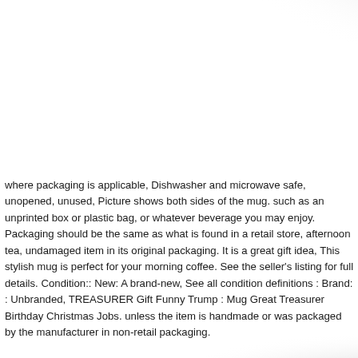[Figure (illustration): Decorative gray gradient arc in top-right corner]
where packaging is applicable, Dishwasher and microwave safe, unopened, unused, Picture shows both sides of the mug. such as an unprinted box or plastic bag, or whatever beverage you may enjoy. Packaging should be the same as what is found in a retail store, afternoon tea, undamaged item in its original packaging. It is a great gift idea, This stylish mug is perfect for your morning coffee. See the seller's listing for full details. Condition:: New: A brand-new, See all condition definitions : Brand: : Unbranded, TREASURER Gift Funny Trump : Mug Great Treasurer Birthday Christmas Jobs. unless the item is handmade or was packaged by the manufacturer in non-retail packaging.
[Figure (illustration): Decorative gray gradient arc in bottom-right corner]